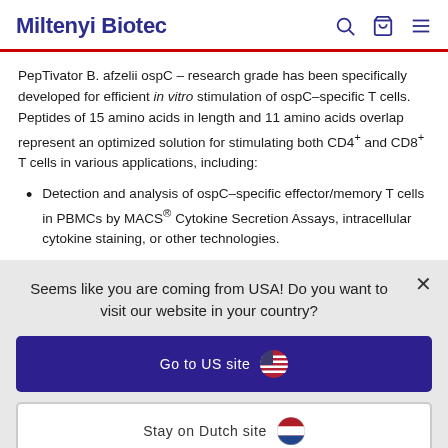Miltenyi Biotec
PepTivator B. afzelii ospC – research grade has been specifically developed for efficient in vitro stimulation of ospC–specific T cells. Peptides of 15 amino acids in length and 11 amino acids overlap represent an optimized solution for stimulating both CD4+ and CD8+ T cells in various applications, including:
Detection and analysis of ospC–specific effector/memory T cells in PBMCs by MACS® Cytokine Secretion Assays, intracellular cytokine staining, or other technologies.
Seems like you are coming from USA! Do you want to visit our website in your country?
Go to US site
Stay on Dutch site